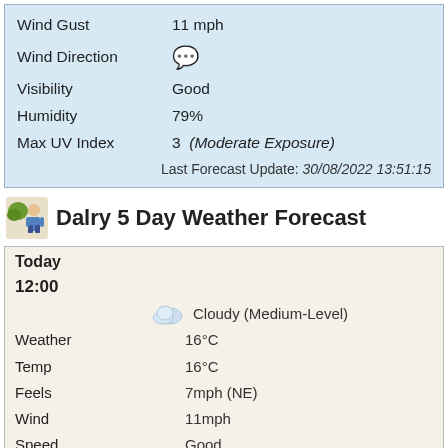| Field | Value |
| --- | --- |
| Wind Gust | 11 mph |
| Wind Direction | (icon) |
| Visibility | Good |
| Humidity | 79% |
| Max UV Index | 3  (Moderate Exposure) |
Last Forecast Update: 30/08/2022 13:51:15
Dalry 5 Day Weather Forecast
Today
12:00
| Field | Value |
| --- | --- |
| Weather | Cloudy (Medium-Level) |
| Temp | 16°C |
| Feels | 16°C |
| Wind | 7mph (NE) |
| Speed | 11mph |
| Wind Gust | Good |
| Visibility | 79% |
| Humidity | 3 |
|  | 5% |
15:00
| Field | Value |
| --- | --- |
| Weather | Cloudy (Medium-Level) |
|  | 17°C |